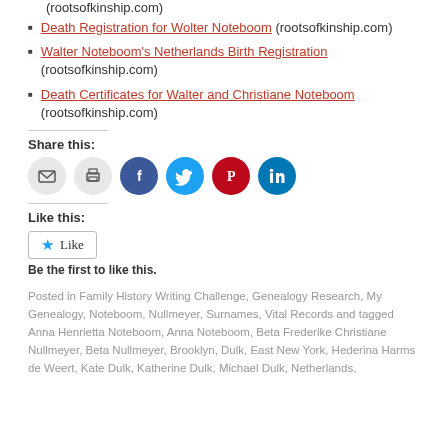(rootsofkinship.com)
Death Registration for Wolter Noteboom (rootsofkinship.com)
Walter Noteboom's Netherlands Birth Registration (rootsofkinship.com)
Death Certificates for Walter and Christiane Noteboom (rootsofkinship.com)
Share this:
[Figure (infographic): Social sharing icons: email, print, Facebook, Twitter, Pinterest, LinkedIn]
Like this:
[Figure (infographic): Like button with star icon]
Be the first to like this.
Posted in Family History Writing Challenge, Genealogy Research, My Genealogy, Noteboom, Nullmeyer, Surnames, Vital Records and tagged Anna Henrietta Noteboom, Anna Noteboom, Beta Frederike Christiane Nullmeyer, Beta Nullmeyer, Brooklyn, Dulk, East New York, Hederina Harms de Weert, Kate Dulk, Katherine Dulk, Michael Dulk, Netherlands,